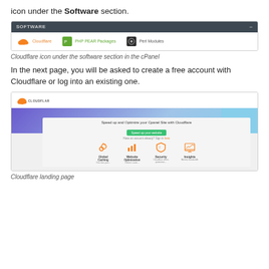icon under the Software section.
[Figure (screenshot): Screenshot of cPanel Software section showing Cloudflare, PHP PEAR Packages, and Perl Modules icons]
Cloudflare icon under the software section in the cPanel
In the next page, you will be asked to create a free account with Cloudflare or log into an existing one.
[Figure (screenshot): Cloudflare landing page showing Speed up and Optimize your Cpanel Site with Cloudflare, with Global Caching, Website Optimization, Security, and Insights features]
Cloudflare landing page